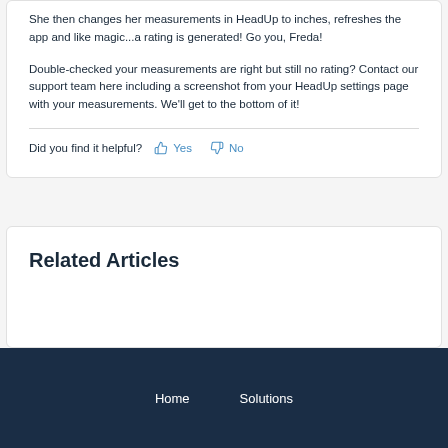She then changes her measurements in HeadUp to inches, refreshes the app and like magic...a rating is generated! Go you, Freda!
Double-checked your measurements are right but still no rating? Contact our support team here including a screenshot from your HeadUp settings page with your measurements. We'll get to the bottom of it!
Did you find it helpful? Yes No
Related Articles
Home Solutions